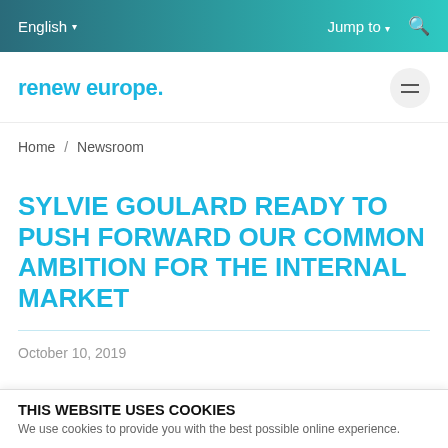English  Jump to  [search icon]
renew europe.
Home / Newsroom
SYLVIE GOULARD READY TO PUSH FORWARD OUR COMMON AMBITION FOR THE INTERNAL MARKET
October 10, 2019
THIS WEBSITE USES COOKIES